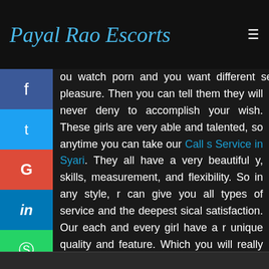Payal Rao Escorts
ou watch porn and you want different sexual pleasure. Then you can tell them they will never deny to accomplish your wish. These girls are very able and talented, so anytime you can take our Call s Service in Syari. They all have a very beautiful y, skills, measurement, and flexibility. So in any style, r can give you all types of service and the deepest sical satisfaction. Our each and every girl have a r unique quality and feature. Which you will really like d never get from other girls. So make your night fully sfied and enjoy every romantic moment with them.